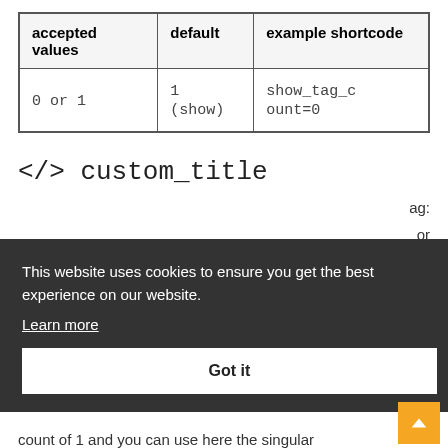| accepted values | default | example shortcode |
| --- | --- | --- |
| 0 or 1 | 1 (show) | show_tag_count=0 |
</> custom_title
...ag: ...or
This website uses cookies to ensure you get the best experience on our website. Learn more
Got it
count of 1 and you can use here the singular